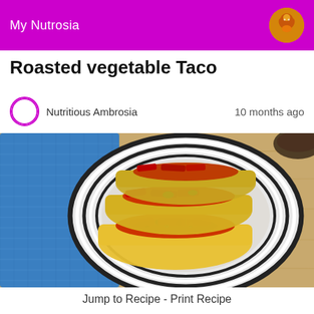My Nutrosia
Roasted vegetable Taco
Nutritious Ambrosia   10 months ago
[Figure (photo): Overhead photo of roasted vegetable tacos in yellow tortillas on a black and white striped plate, with filling of red sauce, beans, and vegetables, placed on a wooden surface next to a blue cloth napkin.]
Jump to Recipe - Print Recipe